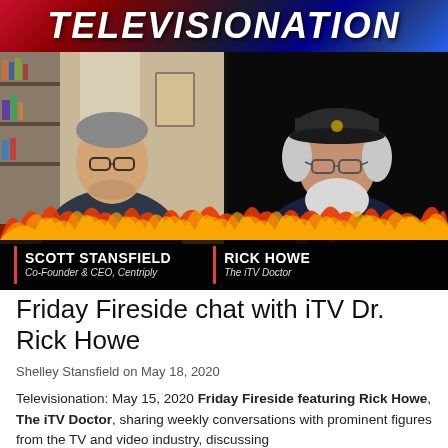[Figure (screenshot): Televisionation banner with gradient blue-red top bar showing title 'TELEVISIONATION' in white italic bold text. Two video call panels below showing two people: left panel shows Scott Stansfield (man with gray hair and glasses in dark shirt, bookshelf background), right panel shows Rick Howe (man with white beard, glasses, dark cap, floral shirt, dark background). Lower third name bar shows 'SCOTT STANSFIELD / Co-Founder & CEO, Centriply' on left and 'RICK HOWE / The iTV Doctor' on right. Flame graphics at bottom of the video area.]
Friday Fireside chat with iTV Dr. Rick Howe
Shelley Stansfield on May 18, 2020
Televisionation: May 15, 2020 Friday Fireside featuring Rick Howe, The iTV Doctor, sharing weekly conversations with prominent figures from the TV and video industry, discussing